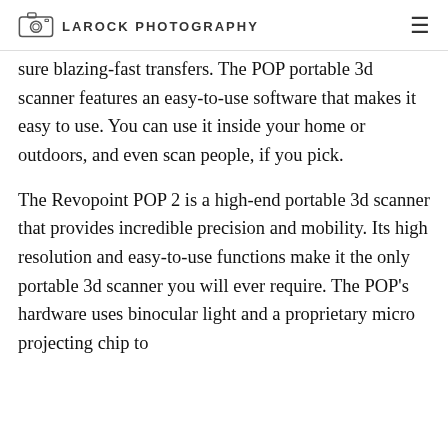LAROCK PHOTOGRAPHY
sure blazing-fast transfers. The POP portable 3d scanner features an easy-to-use software that makes it easy to use. You can use it inside your home or outdoors, and even scan people, if you pick.
The Revopoint POP 2 is a high-end portable 3d scanner that provides incredible precision and mobility. Its high resolution and easy-to-use functions make it the only portable 3d scanner you will ever require. The POP's hardware uses binocular light and a proprietary micro projecting chip to